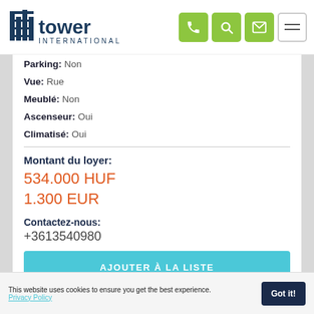[Figure (logo): Tower International logo with building icon and text]
Parking: Non
Vue: Rue
Meublé: Non
Ascenseur: Oui
Climatisé: Oui
Montant du loyer:
534.000 HUF
1.300 EUR
Contactez-nous:
+3613540980
AJOUTER À LA LISTE
This website uses cookies to ensure you get the best experience. Privacy Policy  Got it!